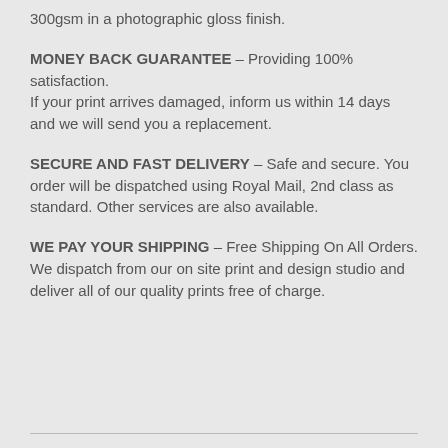300gsm in a photographic gloss finish.
MONEY BACK GUARANTEE – Providing 100% satisfaction.
If your print arrives damaged, inform us within 14 days and we will send you a replacement.
SECURE AND FAST DELIVERY – Safe and secure. You order will be dispatched using Royal Mail, 2nd class as standard. Other services are also available.
WE PAY YOUR SHIPPING – Free Shipping On All Orders.
We dispatch from our on site print and design studio and deliver all of our quality prints free of charge.